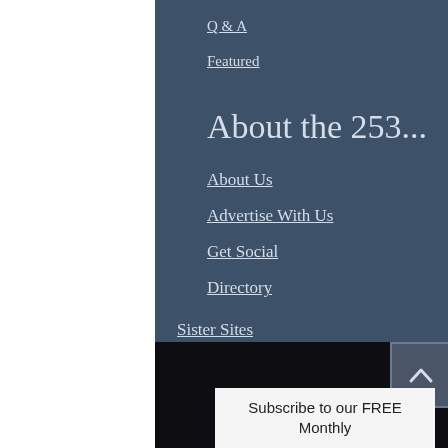Q & A
Featured
About the 253...
About Us
Advertise With Us
Get Social
Directory
Sister Sites
Contact Us
Subscribe to our FREE Monthly